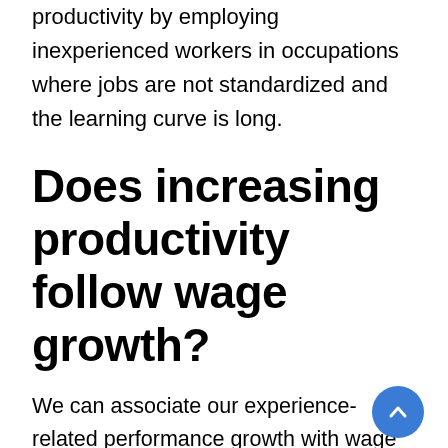productivity by employing inexperienced workers in occupations where jobs are not standardized and the learning curve is long.
Does increasing productivity follow wage growth?
We can associate our experience-related performance growth with wage growth and thus shed light on the general search for wage growth with experience. Conventional human capital theory saves human capital by explaining the upward sloping experience-wage profile, which is partly